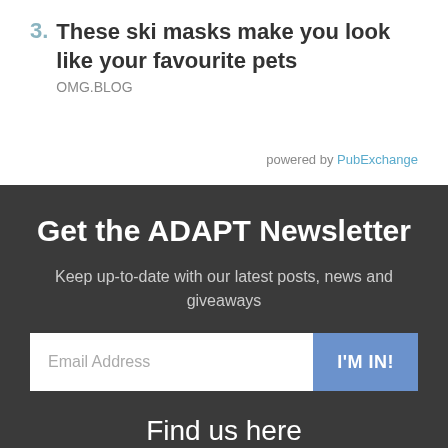3. These ski masks make you look like your favourite pets
OMG.BLOG
powered by PubExchange
Get the ADAPT Newsletter
Keep up-to-date with our latest posts, news and giveaways
Email Address  I'M IN!
Find us here
[Figure (illustration): Four partially visible social media icon circles at the bottom of the page]